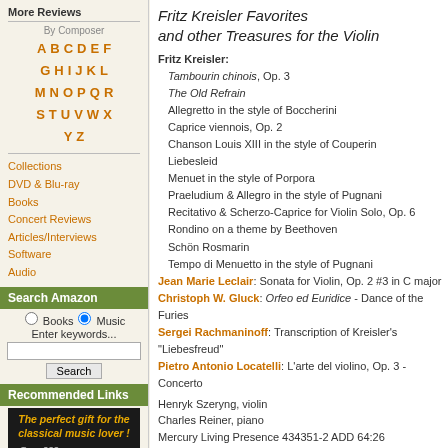More Reviews
By Composer
A B C D E F
G H I J K L
M N O P Q R
S T U V W X
Y Z
Collections
DVD & Blu-ray
Books
Concert Reviews
Articles/Interviews
Software
Audio
Search Amazon
Books  Music
Enter keywords...
[Search button]
Recommended Links
The perfect gift for the classical music lover!
• Over 900 composers
• 1000s of compositions
• Color-coded ranking
• Landmarks in music history
Fritz Kreisler Favorites and other Treasures for the Violin
Fritz Kreisler: Tambourin chinois, Op. 3 / The Old Refrain / Allegretto in the style of Boccherini / Caprice viennois, Op. 2 / Chanson Louis XIII in the style of Couperin / Liebesleid / Menuet in the style of Porpora / Praeludium & Allegro in the style of Pugnani / Recitativo & Scherzo-Caprice for Violin Solo, Op. 6 / Rondino on a theme by Beethoven / Schön Rosmarin / Tempo di Menuetto in the style of Pugnani
Jean Marie Leclair: Sonata for Violin, Op. 2 #3 in C major
Christoph W. Gluck: Orfeo ed Euridice - Dance of the Furies
Sergei Rachmaninoff: Transcription of Kreisler's "Liebesfreud"
Pietro Antonio Locatelli: L'arte del violino, Op. 3 - Concerto
Henryk Szeryng, violin
Charles Reiner, piano
Mercury Living Presence 434351-2 ADD 64:26
[Figure (other): Amazon.com, Amazon.co.uk, Amazon.de buy buttons and ArkivMusic buy button]
Kaleidoscope - An Orchestral Extravaganza
Bedrich Smetana: Bartered Bride, B 143/T 93: Dance of the...
Otto Nicolai: Overture "Die Lustigen Weiber von Windsor"
Johann Strauss Sr.: Radetzky March, Op. 228